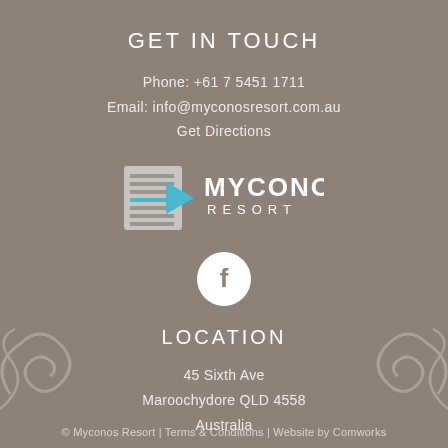GET IN TOUCH
Phone: +61 7 5451 1711
Email: info@myconosresort.com.au
Get Directions
[Figure (logo): Myconos Resort logo with document/arrow icon and text MYCONOS RESORT]
[Figure (logo): Facebook icon in white circle on gray background]
LOCATION
45 Sixth Ave
Maroochydore QLD 4558
Australia
© Myconos Resort | Terms & Conditions | Website by Comworks